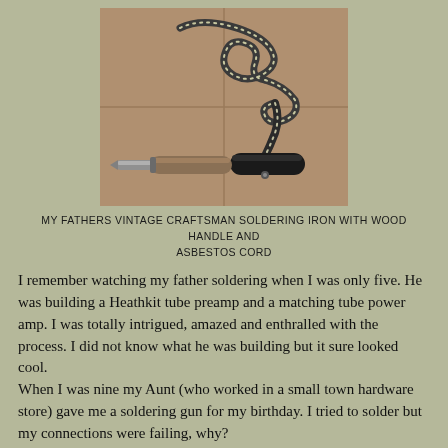[Figure (photo): Vintage Craftsman soldering iron with wood handle and asbestos cord, lying on a tiled surface. The cord is coiled above the iron handle.]
MY FATHERS VINTAGE CRAFTSMAN SOLDERING IRON WITH WOOD HANDLE AND ASBESTOS CORD
I remember watching my father soldering when I was only five. He was building a Heathkit tube preamp and a matching tube power amp. I was totally intrigued, amazed and enthralled with the process. I did not know what he was building but it sure looked cool.
When I was nine my Aunt (who worked in a small town hardware store) gave me a soldering gun for my birthday. I tried to solder but my connections were failing, why?
I did not know the correct technique so I was getting cold solder